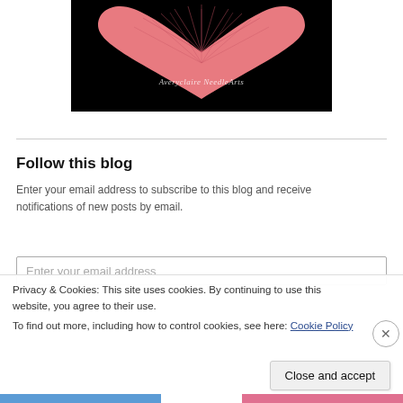[Figure (photo): A pink heart-shaped knitted or needle-art piece on a black background, with a white cursive watermark reading 'Averyclaire NeedleArts']
Follow this blog
Enter your email address to subscribe to this blog and receive notifications of new posts by email.
Enter your email address
Privacy & Cookies: This site uses cookies. By continuing to use this website, you agree to their use.
To find out more, including how to control cookies, see here: Cookie Policy
Close and accept